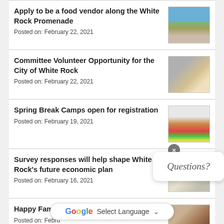Apply to be a food vendor along the White Rock Promenade
Posted on: February 22, 2021
Committee Volunteer Opportunity for the City of White Rock
Posted on: February 22, 2021
Spring Break Camps open for registration
Posted on: February 19, 2021
Survey responses will help shape White Rock's future economic plan
Posted on: February 16, 2021
Happy Family Day: Stay Connected
Posted on: February 8, 2021